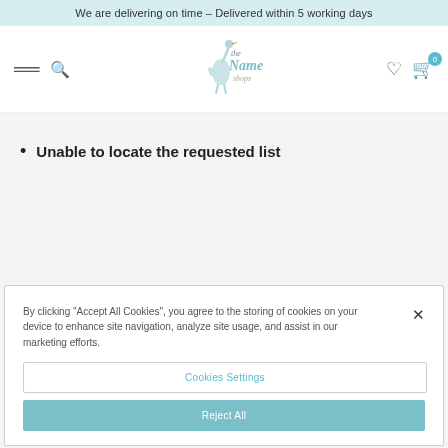We are delivering on time – Delivered within 5 working days
[Figure (logo): The Name Shops logo with a stork illustration and teal text]
Unable to locate the requested list
By clicking “Accept All Cookies”, you agree to the storing of cookies on your device to enhance site navigation, analyze site usage, and assist in our marketing efforts.
Cookies Settings
Reject All